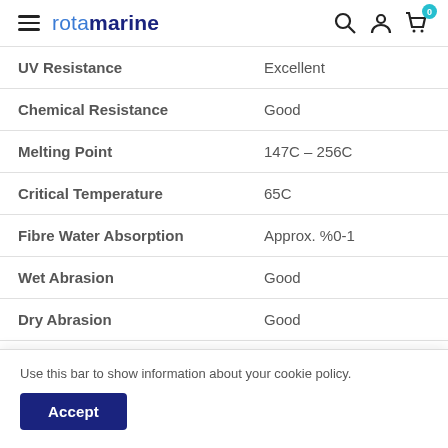rotamarine
| Property | Value |
| --- | --- |
| UV Resistance | Excellent |
| Chemical Resistance | Good |
| Melting Point | 147C – 256C |
| Critical Temperature | 65C |
| Fibre Water Absorption | Approx. %0-1 |
| Wet Abrasion | Good |
| Dry Abrasion | Good |
| Working Stretch | <1 5% |
Use this bar to show information about your cookie policy.
Accept